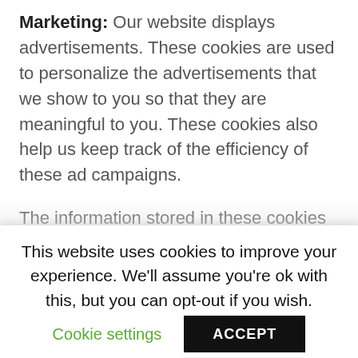Marketing: Our website displays advertisements. These cookies are used to personalize the advertisements that we show to you so that they are meaningful to you. These cookies also help us keep track of the efficiency of these ad campaigns.
The information stored in these cookies may also be used by the third-party ad providers to show you ads on other websites on the browser as well.
Functional: These are the cookies that help certain non-vital...
This website uses cookies to improve your experience. We'll assume you're ok with this, but you can opt-out if you wish.
Cookie settings
ACCEPT